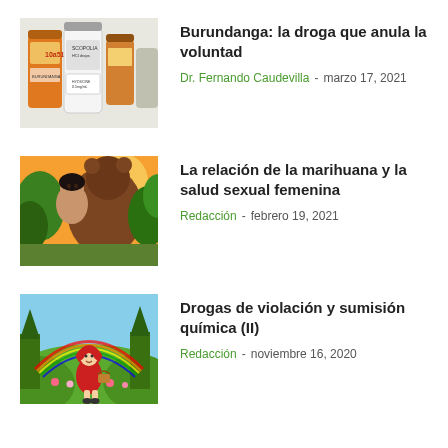[Figure (photo): Photo of medicine bottles/pharmaceutical containers with labels]
Burundanga: la droga que anula la voluntad
Dr. Fernando Caudevilla  -  marzo 17, 2021
[Figure (illustration): Colorful illustration of a person being embraced/grabbed by a large brown bear-like figure amid tropical foliage]
La relación de la marihuana y la salud sexual femenina
Redacción  -  febrero 19, 2021
[Figure (illustration): Colorful cartoon illustration of Little Red Riding Hood in a forest with flowers and trees]
Drogas de violación y sumisión química (II)
Redacción  -  noviembre 16, 2020